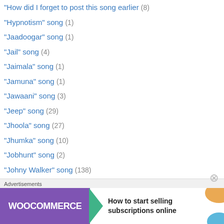"How did I forget to post this song earlier (8)
"Hypnotism" song (1)
"Jaadoogar" song (1)
"Jail" song (4)
"Jaimala" song (1)
"Jamuna" song (1)
"Jawaani" song (3)
"Jeep" song (29)
"Jhoola" song (27)
"Jhumka" song (10)
"Jobhunt" song (2)
"Johny Walker" song (138)
"judaai" song (8)
"just married" song (8)
"Kaaga/Crow" song (9)
"Kaanta" song (4)
Advertisements
[Figure (illustration): WooCommerce advertisement banner: purple background with WooCommerce logo and arrow, text 'How to start selling subscriptions online' with orange and blue decorative shapes]